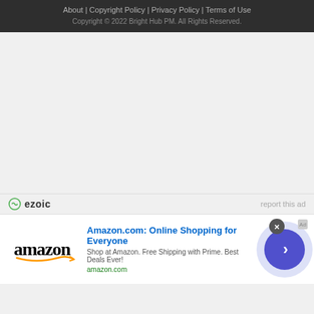About | Copyright Policy | Privacy Policy | Terms of Use
Copyright © 2022 Bright Hub PM. All Rights Reserved.
[Figure (other): Ezoic ad placeholder area with gray background]
report this ad
[Figure (other): Amazon.com advertisement banner: 'Amazon.com: Online Shopping for Everyone' - Shop at Amazon. Free Shipping with Prime. Best Deals Ever! amazon.com]